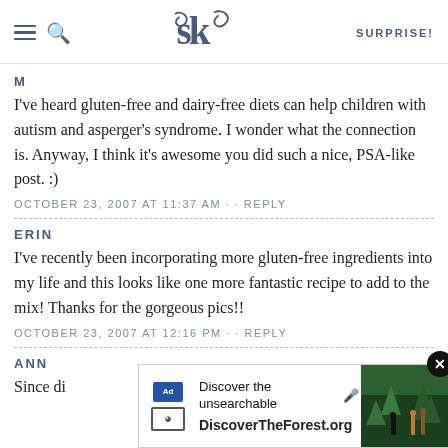SK SURPRISE!
M
I've heard gluten-free and dairy-free diets can help children with autism and asperger's syndrome. I wonder what the connection is. Anyway, I think it's awesome you did such a nice, PSA-like post. :)
OCTOBER 23, 2007 AT 11:37 AM · · REPLY
ERIN
I've recently been incorporating more gluten-free ingredients into my life and this looks like one more fantastic recipe to add to the mix! Thanks for the gorgeous pics!!
OCTOBER 23, 2007 AT 12:16 PM · · REPLY
ANN
Since di…
[Figure (other): Advertisement banner for DiscoverTheForest.org with text 'Discover the unsearchable' and forest/hiking imagery, with a close button]